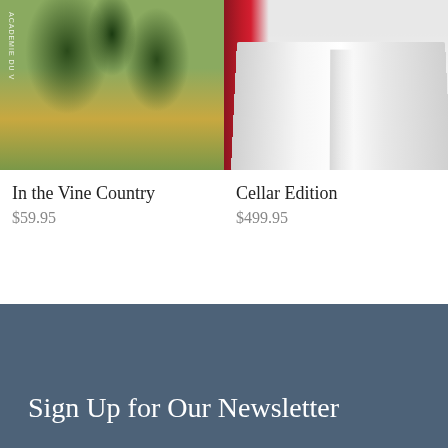[Figure (photo): Book cover showing impressionist painting of women working in a field with trees, titled 'In the Vine Country', with text 'ACADEMIE DU V' on spine]
In the Vine Country
$59.95
[Figure (photo): Photo of an open book with colorful book spines visible in the background, labeled Cellar Edition]
Cellar Edition
$499.95
Sign Up for Our Newsletter